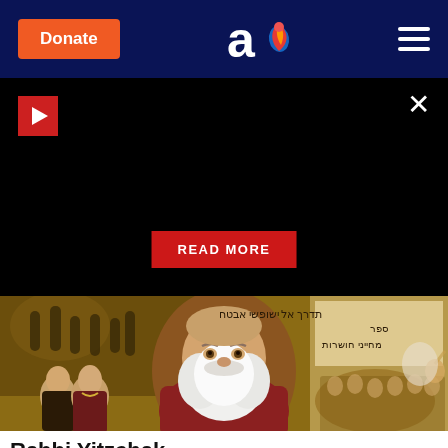Donate | [Aish logo] | [menu]
[Figure (screenshot): Black overlay panel with play button (red), close button (×), and READ MORE red button]
[Figure (illustration): Composite historical painting showing an elderly bearded rabbi overlaid on scenes of historical Jewish figures, an inquisition scene, and Hebrew text on a wall.]
Rabbi Yitzchak